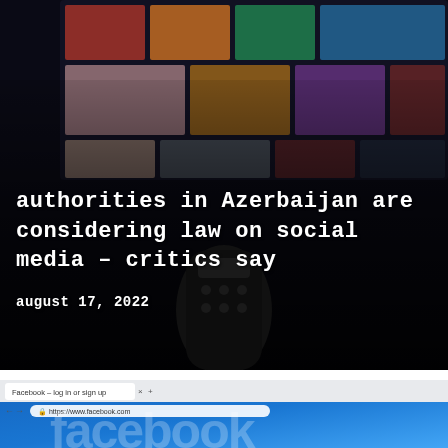[Figure (photo): Blurred TV screen with colorful thumbnails in the background and a dark TV remote in the foreground, with white bold monospace text overlay reading 'authorities in Azerbaijan are considering law on social media – critics say' and 'august 17, 2022']
authorities in Azerbaijan are considering law on social media – critics say
august 17, 2022
[Figure (photo): Close-up of a laptop browser showing the Facebook website with blue interface, browser tab showing 'Facebook – log in or sign up', URL bar showing 'https://www.facebook.com', and 'facebook' text partially visible]